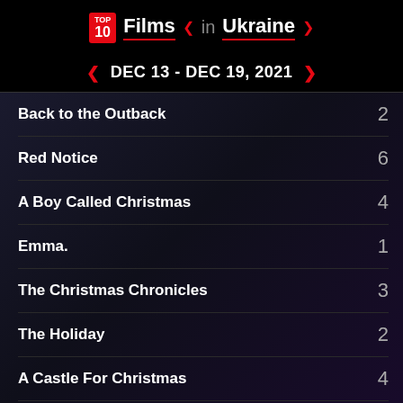TOP 10 Films in Ukraine
DEC 13 - DEC 19, 2021
Back to the Outback
Red Notice
A Boy Called Christmas
Emma.
The Christmas Chronicles
The Holiday
A Castle For Christmas
The Christmas Chronicles: Part Two
Love Hard
Download shareable images